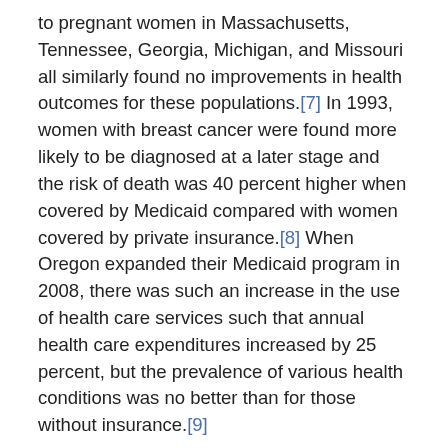to pregnant women in Massachusetts, Tennessee, Georgia, Michigan, and Missouri all similarly found no improvements in health outcomes for these populations.[7] In 1993, women with breast cancer were found more likely to be diagnosed at a later stage and the risk of death was 40 percent higher when covered by Medicaid compared with women covered by private insurance.[8] When Oregon expanded their Medicaid program in 2008, there was such an increase in the use of health care services such that annual health care expenditures increased by 25 percent, but the prevalence of various health conditions was no better than for those without insurance.[9]
As of June 2015, 30 states, including Washington, D.C., have chosen to expand their Medicaid programs under the ACA provision.[10] called the...